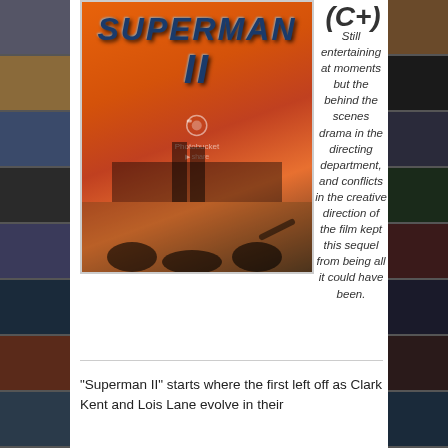[Figure (photo): Left sidebar with movie poster thumbnails]
[Figure (photo): Superman II movie poster showing Superman flying over New York City with crowd below, orange sunset background]
(C+)
Still entertaining at moments but the behind the scenes drama in the directing department, and conflicts in the creative direction of the film kept this sequel from being all it could have been.
[Figure (photo): Right sidebar with movie poster thumbnails]
"Superman II" starts where the first left off as Clark Kent and Lois Lane evolve in their